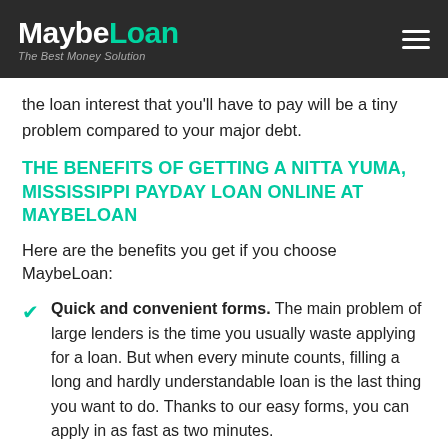MaybeLoan - The Best Money Solution
the loan interest that you'll have to pay will be a tiny problem compared to your major debt.
THE BENEFITS OF GETTING A NITTA YUMA, MISSISSIPPI PAYDAY LOAN ONLINE AT MAYBELOAN
Here are the benefits you get if you choose MaybeLoan:
Quick and convenient forms. The main problem of large lenders is the time you usually waste applying for a loan. But when every minute counts, filling a long and hardly understandable loan is the last thing you want to do. Thanks to our easy forms, you can apply in as fast as two minutes.
Fast approval. Working with MaybeLoan.com, you can always be sure that we will deposit the funds to